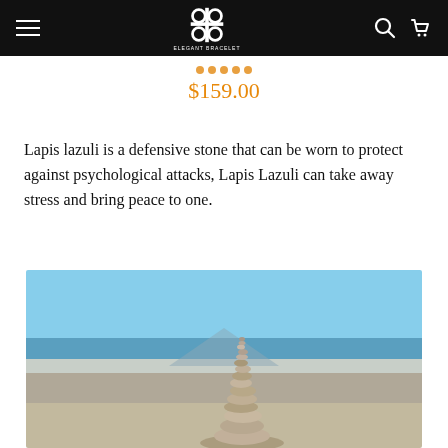Elegant Bracelet - Navigation Header with logo, search, and cart
$159.00
Lapis lazuli is a defensive stone that can be worn to protect against psychological attacks, Lapis Lazuli can take away stress and bring peace to one.
[Figure (photo): Stacked zen stones on a rocky beach with ocean and blue sky in background, a mountain silhouette visible in the distance]